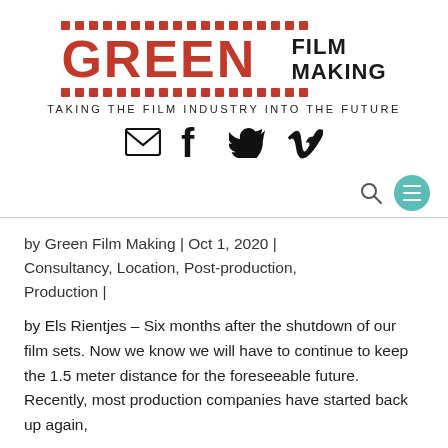[Figure (logo): Green Film Making logo with red film strip dots on top and bottom, large red bold GREEN text and black FILM MAKING text to the right]
TAKING THE FILM INDUSTRY INTO THE FUTURE
[Figure (other): Social media icons: envelope (email), Facebook f, Twitter bird, Vimeo V]
[Figure (other): Navigation bar with search icon and teal hamburger menu button]
by Green Film Making | Oct 1, 2020 | Consultancy, Location, Post-production, Production |
by Els Rientjes – Six months after the shutdown of our film sets. Now we know we will have to continue to keep the 1.5 meter distance for the foreseeable future. Recently, most production companies have started back up again,